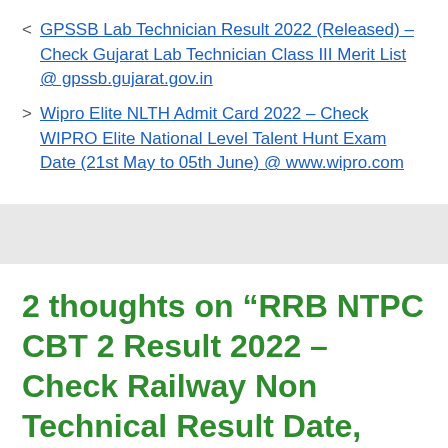< GPSSB Lab Technician Result 2022 (Released) – Check Gujarat Lab Technician Class III Merit List @ gpssb.gujarat.gov.in
> Wipro Elite NLTH Admit Card 2022 – Check WIPRO Elite National Level Talent Hunt Exam Date (21st May to 05th June) @ www.wipro.com
2 thoughts on “RRB NTPC CBT 2 Result 2022 – Check Railway Non Technical Result Date, Merit List @ rrbcdg.gov.in”